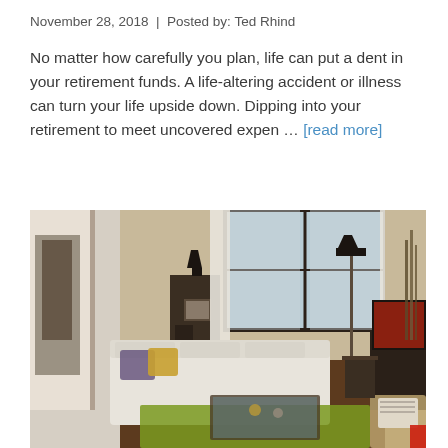November 28, 2018  |  Posted by: Ted Rhind
No matter how carefully you plan, life can put a dent in your retirement funds. A life-altering accident or illness can turn your life upside down. Dipping into your retirement to meet uncovered expen … [read more]
[Figure (photo): Interior photo of a modern living room with a white sectional sofa, colorful throw pillows, a glass coffee table on a green rug, a flat-screen TV on the right, and large windows with sheer curtains in the background.]